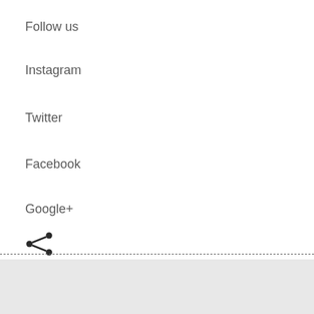Follow us
Instagram
Twitter
Facebook
Google+
[Figure (illustration): Share icon (social share symbol)]
Recent posts